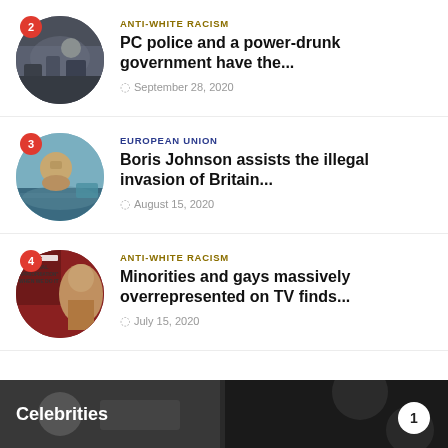[Figure (photo): Article thumbnail 2 - crowd scene with police]
ANTI-WHITE RACISM
PC police and a power-drunk government have the...
September 28, 2020
[Figure (photo): Article thumbnail 3 - man with head in hands near water with people]
EUROPEAN UNION
Boris Johnson assists the illegal invasion of Britain...
August 15, 2020
[Figure (photo): Article thumbnail 4 - woman with text overlay about cultural appropriation]
ANTI-WHITE RACISM
Minorities and gays massively overrepresented on TV finds...
July 15, 2020
Celebrities
1